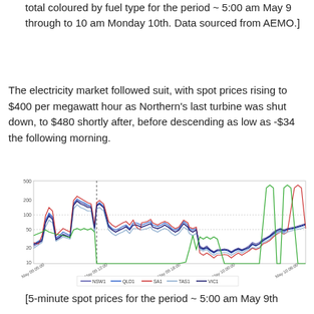total coloured by fuel type for the period ~ 5:00 am May 9 through to 10 am Monday 10th. Data sourced from AEMO.]
The electricity market followed suit, with spot prices rising to $400 per megawatt hour as Northern's last turbine was shut down, to $480 shortly after, before descending as low as -$34 the following morning.
[Figure (line-chart): Line chart showing 5-minute spot prices for NSW1, QLD1, SA1, TAS1, VIC1 from May 09 05:00 to May 10 06:00, with prices peaking around 500 and dipping below 20.]
[5-minute spot prices for the period ~ 5:00 am May 9th